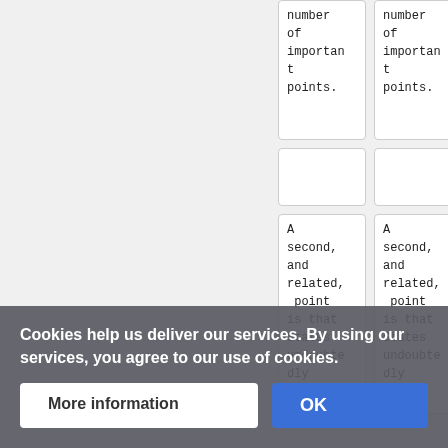| number of important points. | number of important points. |
|  |  |
| A second, and related, point is that States undoubtedly | A second, and related, point is that States undoubtedly |
Cookies help us deliver our services. By using our services, you agree to our use of cookies.